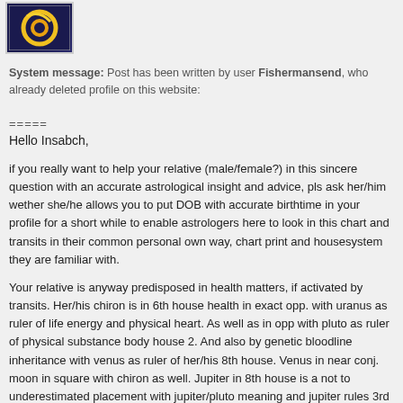[Figure (logo): Website logo with yellow swirl on dark blue background]
System message: Post has been written by user Fishermansend, who already deleted profile on this website:
=====
Hello Insabch,
if you really want to help your relative (male/female?) in this sincere question with an accurate astrological insight and advice, pls ask her/him wether she/he allows you to put DOB with accurate birthtime in your profile for a short while to enable astrologers here to look in this chart and transits in their common personal own way, chart print and housesystem they are familiar with.
Your relative is anyway predisposed in health matters, if activated by transits. Her/his chiron is in 6th house health in exact opp. with uranus as ruler of life energy and physical heart. As well as in opp with pluto as ruler of physical substance body house 2. And also by genetic bloodline inheritance with venus as ruler of her/his 8th house. Venus in near conj. moon in square with chiron as well. Jupiter in 8th house is a not to underestimated placement with jupiter/pluto meaning and jupiter rules 3rd house -physically arms, legs, voice, locomotive system, but also mind and thoughts. What can get (expandingly) self-destructive with jupiter as ruler of 3rd in 8th.